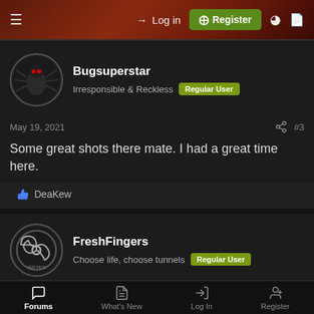Log in | Register
Bugsuperstar
Irresponsible & Reckless | Regular User
May 19, 2021  #3
Some great shots there mate. I had a great time here.
👍 DeaKew
FreshFingers
Choose life, choose tunnels | Regular User
May 20, 2021  #4
Forums | What's New | Log In | Register